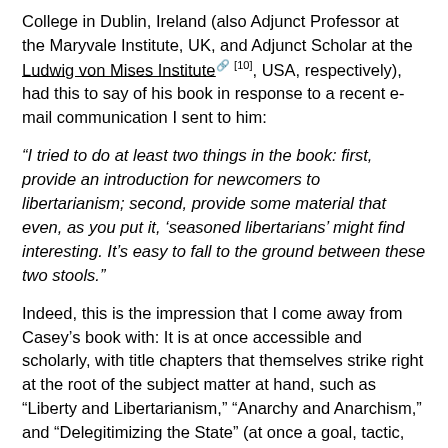College in Dublin, Ireland (also Adjunct Professor at the Maryvale Institute, UK, and Adjunct Scholar at the Ludwig von Mises Institute [10], USA, respectively), had this to say of his book in response to a recent e-mail communication I sent to him:
“I tried to do at least two things in the book: first, provide an introduction for newcomers to libertarianism; second, provide some material that even, as you put it, ‘seasoned libertarians’ might find interesting. It’s easy to fall to the ground between these two stools.”
Indeed, this is the impression that I come away from Casey’s book with: It is at once accessible and scholarly, with title chapters that themselves strike right at the root of the subject matter at hand, such as “Liberty and Libertarianism,” “Anarchy and Anarchism,” and “Delegitimizing the State” (at once a goal, tactic, and sentiment that will no doubt be familiar to many readers in the “Statement of Purpose” found here [11]). As well, the volume includes sections dedicated to extensive and informative footnotes, a generous bibliography, and a helpful index.
Casey’s essential approach to covering the ground